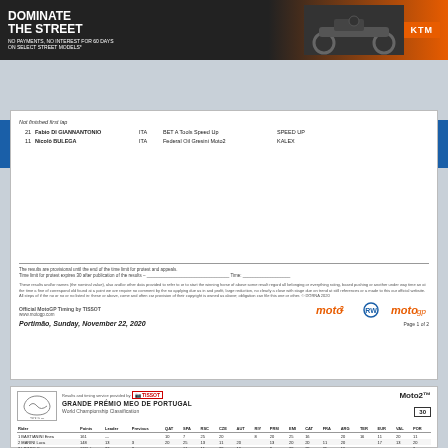[Figure (photo): KTM motorcycle advertisement banner: 'DOMINATE THE STREET - NO PAYMENTS, NO INTEREST FOR 60 DAYS ON SELECT STREET MODELS' with motorcycle silhouette and KTM logo]
RW ROADRACING WORLD & MOTORCYCLE TECHNOLOGY
Not finished first lap
21 Fabio DI GIANNANTONIO  ITA  BET A Tools Speed Up    SPEED UP
11 Nicolo BULEGA           ITA  Federal Oil Gresini Moto2  KALEX
The results are provisional until the end of the time limit for protest and appeals.
Time limit for protest expires 30 after publication of the results.
Official MotoGP Timing by TISSOT
www.motogp.com
Portimão, Sunday, November 22, 2020    Page 1 of 2
[Figure (logo): Moto2, Road Racing World, and MotoGP logos]
Results and timing service provided by TISSOT
GRANDE PRÉMIO MEO DE PORTUGAL    Moto2™
World Championship Classification    30
| Rider | Points | Leader | Previous | QAT | SPA | RSC | CZE | AUT | RIY | PRM | EMI | CAT | FRA | ARG | TER | EUR | VAL | POR |
| --- | --- | --- | --- | --- | --- | --- | --- | --- | --- | --- | --- | --- | --- | --- | --- | --- | --- | --- |
| 1 BASTIANINI Enea | 161 | — | — | 10 | 7 | 25 | 20 |  | 8 | 20 | 25 | 16 |  | 20 | 16 | 11 | 20 | 11 |
| 2 MARINI Luca | 148 | 13 | 3 | 20 | 25 | 11 | 11 | 20 |  | 13 | 20 | 20 | 11 | 20 |  | 17 | 13 | 20 |
| 3 LOWES Sam | 128(+) | 33 | 3 |  | 11 | 11 | 20 | 16 |  | 8 | 20 | 20 | 25 | 16 |  | — | — | 2 | 25 |
| 4 BEZZECCHI Marco | 119 | 42 | 12 |  |  | 16 | 25 |  |  |  | — |  |  |  |  |  | — | — |  |
| 5 MARTIN Jorge | 113 | 48 | 24 | 6 | 10 | 8 | 9 | 20 |  | — | 20 |  |  | 16 | 13 | 20 | 25 | 20 |
| 6 GARDNER Remy | AU0 | 61 | 39 | 11 |  |  |  | 20 | 11 |  |  | 8 | — | 9 | 11 | 20 | 20 | 13 | 20 |
| 7 ROBERTS Joe | 84 | 77 | 111 | 43 | 10 | 5 | 19 | 6 | 6 | 4 | 2 | 9 | 8 | — | 4 | 8 | 8 | 5 | 6 |
| 8 VIERGE Xavi |  |  |  |  |  |  |  |  |  |  |  |  |  |  |  |  |  |  |  |